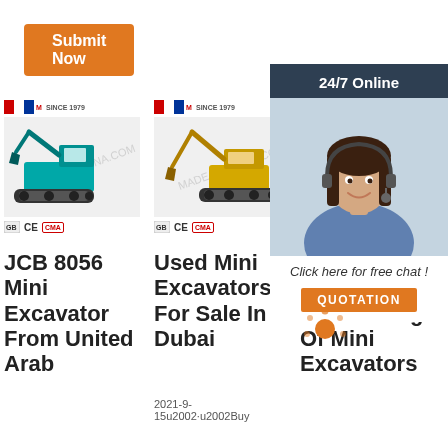Submit Now
[Figure (photo): Teal/blue mini excavator with JCB branding logo, certification marks CE and CMA]
[Figure (photo): Yellow mini excavator with JCB branding logo, certification marks CE and CMA]
[Figure (photo): Partial view of third excavator product, overlaid by 24/7 online chat widget showing woman with headset]
JCB 8056 Mini Excavator From United Arab
Used Mini Excavators For Sale In Dubai
2021-9-15u2002·u2002Buy
JC Excavators 8030 - Range Of Mini Excavators